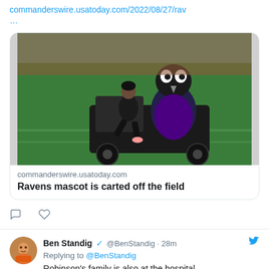commanderswire.usatoday.com/2022/08/27/rav
...
[Figure (photo): Ravens mascot being carted off football field on a motorized cart, attended by a person in black clothing]
commanderswire.usatoday.com
Ravens mascot is carted off the field
Ben Standig @BenStandig · 28m
Replying to @BenStandig
Robinson's family is also at the hospital.